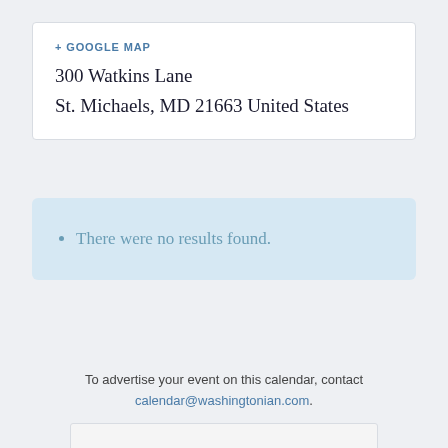+ GOOGLE MAP
300 Watkins Lane
St. Michaels, MD 21663 United States
There were no results found.
To advertise your event on this calendar, contact calendar@washingtonian.com.